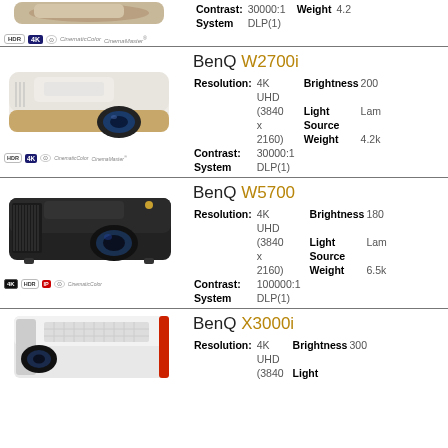[Figure (photo): Partial top section showing specs: Contrast 30000:1, System DLP(1), Weight 4.2, with HDR/4K/CinematicColor/CinemaMaster badges]
BenQ W2700i
Resolution: 4K UHD (3840 x 2160), Brightness 200, Contrast: 30000:1, System DLP(1), Light Source, Weight 4.2k
[Figure (photo): BenQ W2700i white/gold projector with HDR 4K CinematicColor CinemaMaster badges]
BenQ W5700
Resolution: 4K UHD (3840 x 2160), Brightness 180, Contrast: 100000:1, System DLP(1), Light Source, Weight 6.5k
[Figure (photo): BenQ W5700 black projector with 4K HDR IP CinematicColor badges]
BenQ X3000i
Resolution: 4K UHD (3840, Brightness 300, Light Source